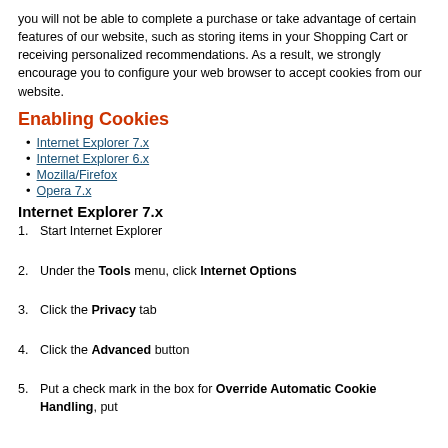you will not be able to complete a purchase or take advantage of certain features of our website, such as storing items in your Shopping Cart or receiving personalized recommendations. As a result, we strongly encourage you to configure your web browser to accept cookies from our website.
Enabling Cookies
Internet Explorer 7.x
Internet Explorer 6.x
Mozilla/Firefox
Opera 7.x
Internet Explorer 7.x
1. Start Internet Explorer
2. Under the Tools menu, click Internet Options
3. Click the Privacy tab
4. Click the Advanced button
5. Put a check mark in the box for Override Automatic Cookie Handling, put